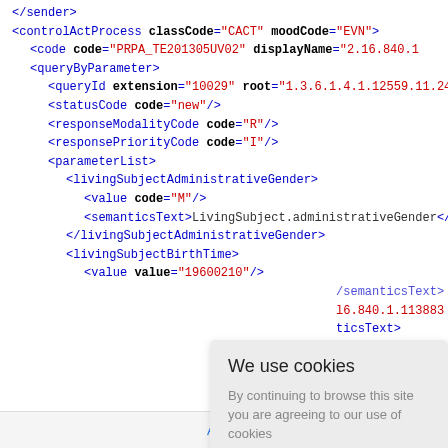[Figure (screenshot): Screenshot of an XML code block showing HL7 PRPA message structure with tags like controlActProcess, code, queryByParameter, queryId, statusCode, responseModalityCode, responsePriorityCode, parameterList, livingSubjectAdministrativeGender, value, semanticsText, livingSuubjectBirthTime. A cookie consent dialog overlays the lower portion with title 'We use cookies', body text 'By continuing to browse this site you are agreeing to our use of cookies', and a green 'Ok' button. A page footer shows 'About' link, 'Back to top' and language selector 'E'.]